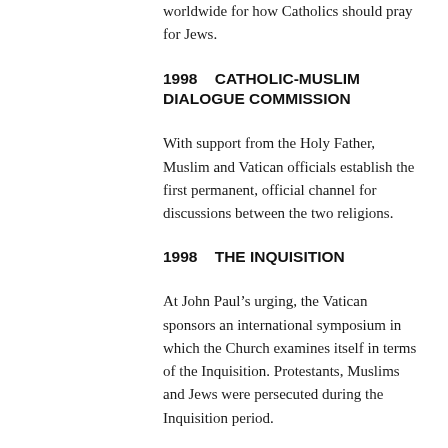worldwide for how Catholics should pray for Jews.
1998    CATHOLIC-MUSLIM DIALOGUE COMMISSION
With support from the Holy Father, Muslim and Vatican officials establish the first permanent, official channel for discussions between the two religions.
1998    THE INQUISITION
At John Paul's urging, the Vatican sponsors an international symposium in which the Church examines itself in terms of the Inquisition. Protestants, Muslims and Jews were persecuted during the Inquisition period.
1998    WE REMEMBER: A REFLECTION